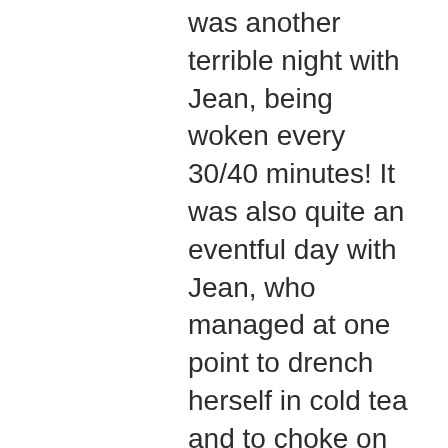was another terrible night with Jean, being woken every 30/40 minutes! It was also quite an eventful day with Jean, who managed at one point to drench herself in cold tea and to choke on some apple (the girls did not realise that apple is not ideal for somebody prone to aspirational pneumonia!). In between crisis I had a massive watering session and then returned to my potato beds. I had got to do this job later than planned but it was going quite well, when Aideen came outside to find me. Guildhall had finally made contact with their students to let them know what was happening with their degrees. Aideen is at the end of a four year, very intensive degree in 'Classical Harp' and was keeping reasonably calm and